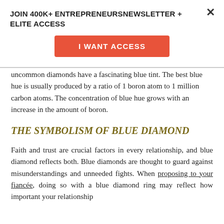JOIN 400K+ ENTREPRENEURSNEWSLETTER + ELITE ACCESS
[Figure (other): Orange button with text 'I WANT ACCESS']
uncommon diamonds have a fascinating blue tint. The best blue hue is usually produced by a ratio of 1 boron atom to 1 million carbon atoms. The concentration of blue hue grows with an increase in the amount of boron.
THE SYMBOLISM OF BLUE DIAMOND
Faith and trust are crucial factors in every relationship, and blue diamond reflects both. Blue diamonds are thought to guard against misunderstandings and unneeded fights. When proposing to your fiancée, doing so with a blue diamond ring may reflect how important your relationship